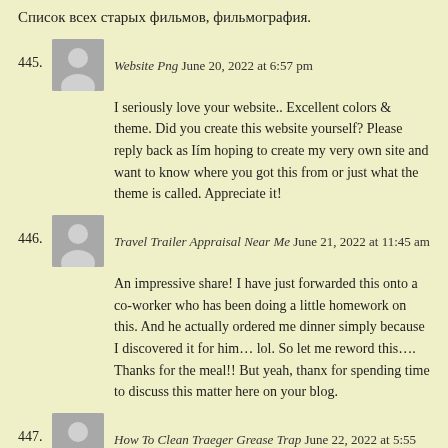Список всех старых фильмов, фильмография.
445. Website Png June 20, 2022 at 6:57 pm — I seriously love your website.. Excellent colors & theme. Did you create this website yourself? Please reply back as Iím hoping to create my very own site and want to know where you got this from or just what the theme is called. Appreciate it!
446. Travel Trailer Appraisal Near Me June 21, 2022 at 11:45 am — An impressive share! I have just forwarded this onto a co-worker who has been doing a little homework on this. And he actually ordered me dinner simply because I discovered it for him… lol. So let me reword this…. Thanks for the meal!! But yeah, thanx for spending time to discuss this matter here on your blog.
447. How To Clean Traeger Grease Trap June 22, 2022 at 5:55